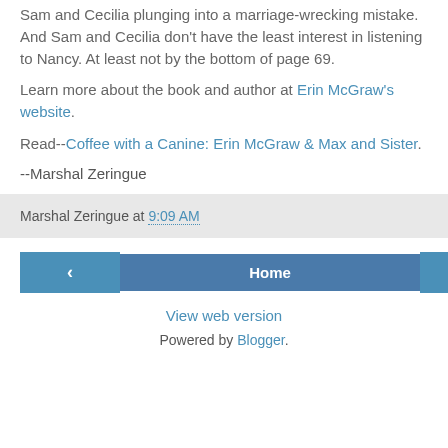Sam and Cecilia plunging into a marriage-wrecking mistake. And Sam and Cecilia don't have the least interest in listening to Nancy. At least not by the bottom of page 69.
Learn more about the book and author at Erin McGraw's website.
Read--Coffee with a Canine: Erin McGraw & Max and Sister.
--Marshal Zeringue
Marshal Zeringue at 9:09 AM
View web version
Powered by Blogger.